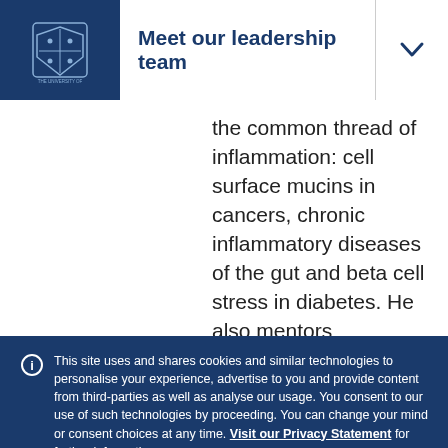Meet our leadership team
the common thread of inflammation: cell surface mucins in cancers, chronic inflammatory diseases of the gut and beta cell stress in diabetes. He also mentors
This site uses and shares cookies and similar technologies to personalise your experience, advertise to you and provide content from third-parties as well as analyse our usage. You consent to our use of such technologies by proceeding. You can change your mind or consent choices at any time. Visit our Privacy Statement for further information.
Accept cookies
Cookie Preferences